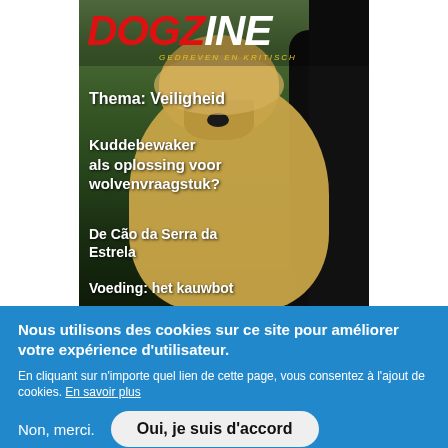[Figure (illustration): DOGZINE magazine cover featuring a large white/golden fluffy dog (Cão da Serra da Estrela type) in foreground with dark cattle/animals in background. Red italic 'DOGZINE' logo at top with tagline 'GEDREVEN EN KRITISCH'. White bold text overlays listing: Thema: Veiligheid, Kuddebewaker als oplossing voor wolfsvraagstuk?, De Cão da Serra da Estrela, Voeding: het kauwbot.]
Nous utilisons des cookies sur ce site pour améliorer votre expérience d'utilisateur.
En cliquant sur n'importe quel lien de cette page, vous consentez à l'ajout de cookies. En savoir plus
Non, merci.
Oui, je suis d'accord